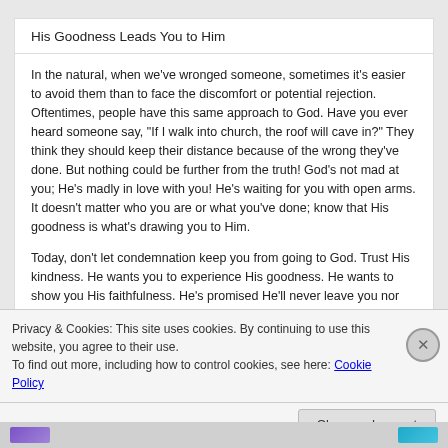His Goodness Leads You to Him
In the natural, when we've wronged someone, sometimes it's easier to avoid them than to face the discomfort or potential rejection. Oftentimes, people have this same approach to God. Have you ever heard someone say, “If I walk into church, the roof will cave in?” They think they should keep their distance because of the wrong they've done. But nothing could be further from the truth! God’s not mad at you; He’s madly in love with you! He’s waiting for you with open arms. It doesn’t matter who you are or what you’ve done; know that His goodness is what’s drawing you to Him.
Today, don’t let condemnation keep you from going to God. Trust His kindness. He wants you to experience His goodness. He wants to show you His faithfulness. He’s promised He’ll never leave you nor forsake you. Turn to Him today and let Him pour His lovingkindness out on you
Privacy & Cookies: This site uses cookies. By continuing to use this website, you agree to their use.
To find out more, including how to control cookies, see here: Cookie Policy
Close and accept